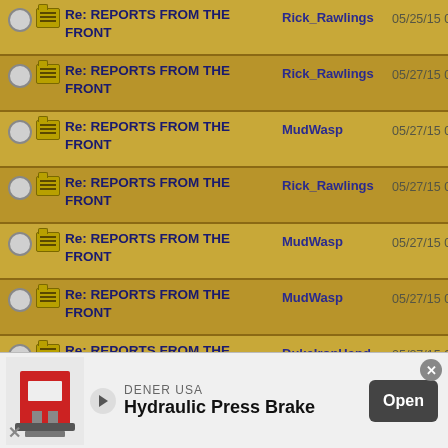| Subject | Author | Date |
| --- | --- | --- |
| Re: REPORTS FROM THE FRONT | Rick_Rawlings | 05/25/15 02:05 PM |
| Re: REPORTS FROM THE FRONT | Rick_Rawlings | 05/27/15 01:30 AM |
| Re: REPORTS FROM THE FRONT | MudWasp | 05/27/15 02:46 AM |
| Re: REPORTS FROM THE FRONT | Rick_Rawlings | 05/27/15 02:58 AM |
| Re: REPORTS FROM THE FRONT | MudWasp | 05/27/15 03:11 AM |
| Re: REPORTS FROM THE FRONT | MudWasp | 05/27/15 03:41 AM |
| Re: REPORTS FROM THE FRONT | DukeIronHand | 05/27/15 09:24 AM |
| Re: REPORTS FROM THE FRONT | Rick_Rawlings | 05/28/15 12:54 AM |
[Figure (screenshot): Advertisement banner for DENER USA Hydraulic Press Brake with Open button]